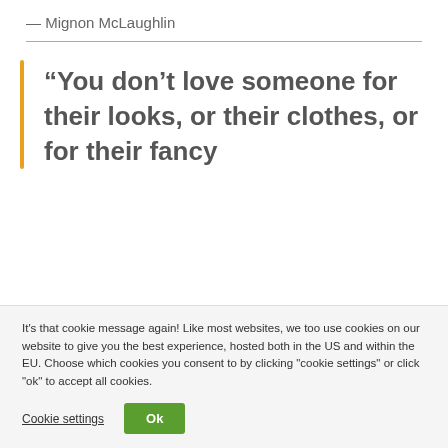— Mignon McLaughlin
“You don’t love someone for their looks, or their clothes, or for their fancy
It's that cookie message again! Like most websites, we too use cookies on our website to give you the best experience, hosted both in the US and within the EU. Choose which cookies you consent to by clicking "cookie settings" or click "ok" to accept all cookies.
Cookie settings
Ok